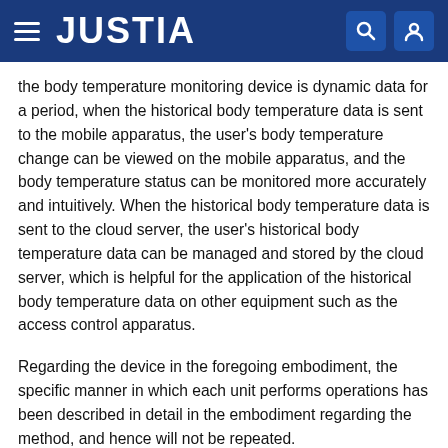JUSTIA
the body temperature monitoring device is dynamic data for a period, when the historical body temperature data is sent to the mobile apparatus, the user's body temperature change can be viewed on the mobile apparatus, and the body temperature status can be monitored more accurately and intuitively. When the historical body temperature data is sent to the cloud server, the user's historical body temperature data can be managed and stored by the cloud server, which is helpful for the application of the historical body temperature data on other equipment such as the access control apparatus.
Regarding the device in the foregoing embodiment, the specific manner in which each unit performs operations has been described in detail in the embodiment regarding the method, and hence will not be repeated.